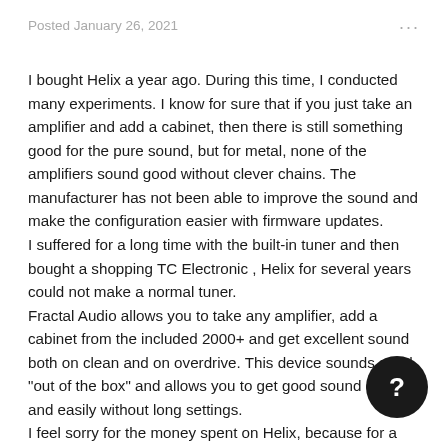Posted January 26, 2021
I bought Helix a year ago. During this time, I conducted many experiments. I know for sure that if you just take an amplifier and add a cabinet, then there is still something good for the pure sound, but for metal, none of the amplifiers sound good without clever chains. The manufacturer has not been able to improve the sound and make the configuration easier with firmware updates.
I suffered for a long time with the built-in tuner and then bought a shopping TC Electronic , Helix for several years could not make a normal tuner.
Fractal Audio allows you to take any amplifier, add a cabinet from the included 2000+ and get excellent sound both on clean and on overdrive. This device sounds good "out of the box" and allows you to get good sound quickly and easily without long settings.
I feel sorry for the money spent on Helix, because for a long time they have not done anything for me to improve the unfinished "out of the box" device.
I just want to take a ready-made amp and cabinet, add delay
[Figure (other): Dark circular help button with question mark icon in bottom right corner]